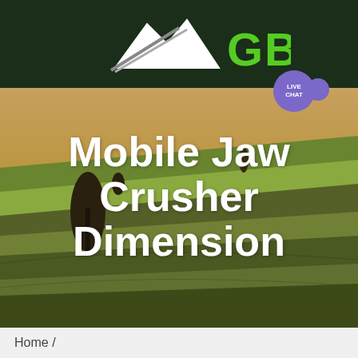[Figure (logo): GBM company logo with mountain/arrow icon in white and green on dark green background]
[Figure (screenshot): Green navigation bar with hamburger menu icon (three white horizontal lines) and a LIVE CHAT speech bubble icon]
[Figure (photo): Aerial photograph of rolling green and tan agricultural fields with trees, used as hero background]
Mobile Jaw Crusher Dimension
Home /